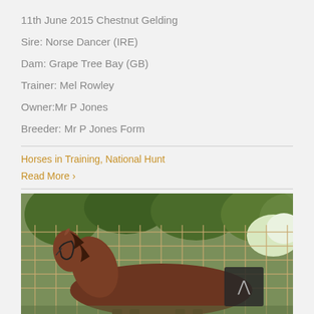11th June 2015 Chestnut Gelding
Sire: Norse Dancer (IRE)
Dam: Grape Tree Bay (GB)
Trainer: Mel Rowley
Owner:Mr P Jones
Breeder: Mr P Jones Form
Horses in Training, National Hunt
Read More >
[Figure (photo): A chestnut horse standing in front of a wooden trellis fence with green trees in the background. A dark scroll-to-top button with an upward chevron is visible in the lower right of the image.]